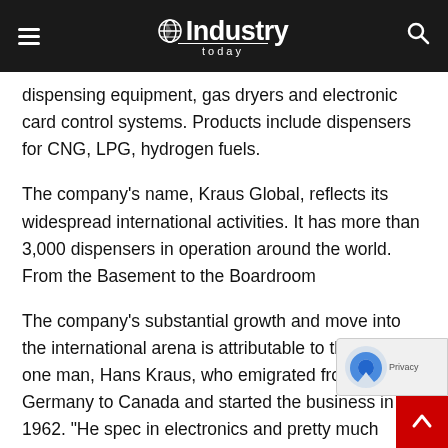Industry Today
dispensing equipment, gas dryers and electronic card control systems. Products include dispensers for CNG, LPG, hydrogen fuels.
The company’s name, Kraus Global, reflects its widespread international activities. It has more than 3,000 dispensers in operation around the world. From the Basement to the Boardroom
The company’s substantial growth and move into the international arena is attributable to the vision of one man, Hans Kraus, who emigrated from Germany to Canada and started the business in 1962. “He spec in electronics and pretty much started it in his base